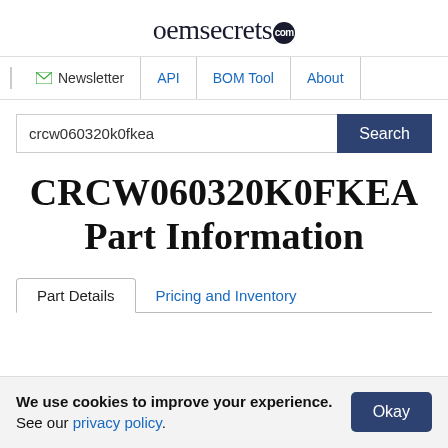oemsecrets.com
Newsletter | API | BOM Tool | About
crcw060320k0fkea
CRCW060320K0FKEA Part Information
Part Details | Pricing and Inventory
We use cookies to improve your experience. See our privacy policy.